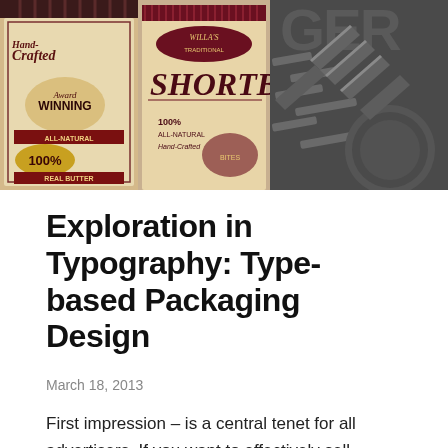[Figure (photo): Collage of product packaging designs featuring typography. Left side shows vintage-style tins labeled 'Hand Crafted Award Winning All-Natural 100% Real Butter' and 'Willa's Shortb[read]' with decorative lettering. Right side shows dark gray embossed letterpress or engraved typographic design with geometric letter forms.]
Exploration in Typography: Type-based Packaging Design
March 18, 2013
First impression – is a central tenet for all advertisers. If you want to effectively sell something  you have to make a good impression, especially when your product is a...